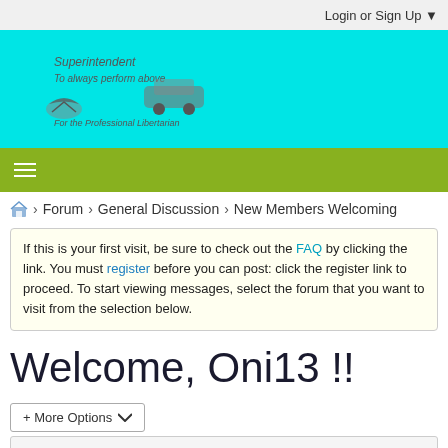Login or Sign Up
[Figure (logo): Forum site logo on cyan background with car and bird imagery]
[Figure (other): Green navigation bar with hamburger menu icon]
Forum > General Discussion > New Members Welcoming
If this is your first visit, be sure to check out the FAQ by clicking the link. You must register before you can post: click the register link to proceed. To start viewing messages, select the forum that you want to visit from the selection below.
Welcome, Oni13 !!
+ More Options
Filter